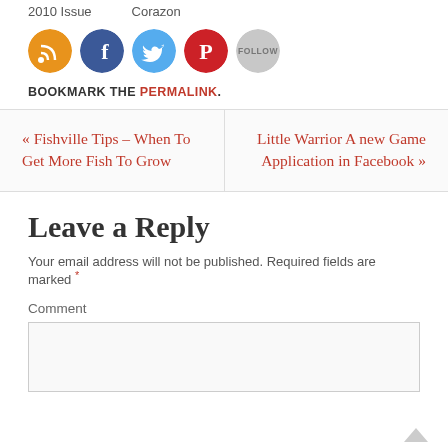2010 Issue   Corazon
[Figure (illustration): Row of social media icon buttons: RSS (orange), Facebook (blue), Twitter (light blue), Pinterest (red), Follow (grey)]
BOOKMARK THE PERMALINK.
« Fishville Tips – When To Get More Fish To Grow
Little Warrior A new Game Application in Facebook »
Leave a Reply
Your email address will not be published. Required fields are marked *
Comment